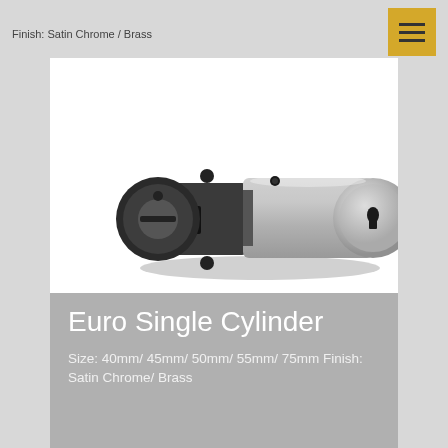Finish: Satin Chrome / Brass
[Figure (photo): Euro single cylinder lock cylinder in satin chrome finish, showing the cylindrical barrel with key slot on the right side and thumb turn housing on the left, with mounting block in the center]
Euro Single Cylinder
Size: 40mm/ 45mm/ 50mm/ 55mm/ 75mm Finish: Satin Chrome/ Brass